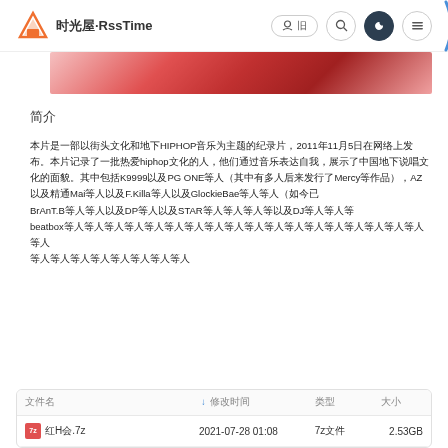时光屋·RssTime
[Figure (photo): Partial image strip showing red/pink tones, appears to be a cropped anime or illustration]
简介
本片是一部以街头文化和地下HIPHOP音乐为主题的纪录片，2011年11月5日在网络上发布。本片记录了一批热爱hiphop文化的人，他们通过音乐表达自我，展示了中国地下说唱文化的面貌。其中包括K9999以及PG ONE等人（其中有多人后来发行了Mercy等作品），AZ以及精通Mai等人以及F.Killa等人以及GlockieBae等人等人（如今已 BrAnT.B等人等人以及DP等人以及STAR等人等人等人等以及DJ等人等人等 beatbox等人等人等人等人等人等人等人等人等人等人等人等人等人等人等人等人等人等人等人 等人等人等人等人等人等人等人等人
| 文件名 | 修改时间 | 类型 | 大小 |
| --- | --- | --- | --- |
| 红H会.7z | 2021-07-28 01:08 | 7z文件 | 2.53GB |